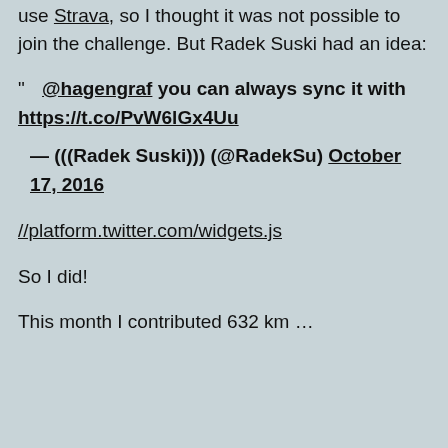use Strava, so I thought it was not possible to join the challenge. But Radek Suski had an idea:
" @hagengraf you can always sync it with https://t.co/PvW6lGx4Uu
— (((Radek Suski))) (@RadekSu) October 17, 2016
//platform.twitter.com/widgets.js
So I did!
This month I contributed 632 km …